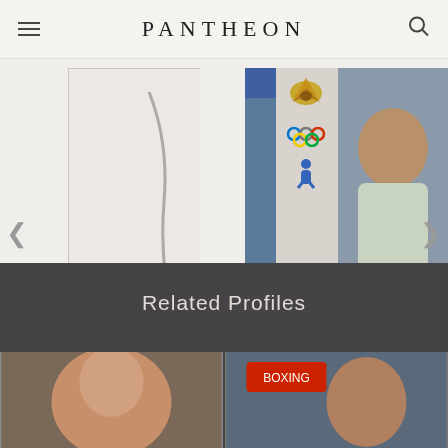PANTHEON
[Figure (photo): Partial left card showing a silhouette/outline figure, name cut off as MONINA]
MONINA
t
[Figure (photo): Boxing match photo: Hasanboy Dusmatov in blue gear fighting opponent in red gear]
HASANBOY DUSMATOV
1993 - Present
HPI: 28.21
Rank: 6
[Figure (photo): Partial right card showing Ruslan N with sports icons (eagle, Olympic rings, figure)]
RUSLAN N
1991 - Pres
HPI: 27.27
Rank: 7
Related Profiles
[Figure (photo): Related profile thumbnail left]
[Figure (photo): Related profile thumbnail right]